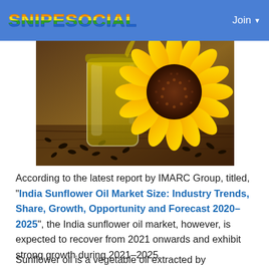SNIPESOCIAL  Join
[Figure (photo): Photo of sunflower oil in a glass jar with a sunflower and sunflower seeds on a wooden surface]
According to the latest report by IMARC Group, titled, "India Sunflower Oil Market Size: Industry Trends, Share, Growth, Opportunity and Forecast 2020–2025", the India sunflower oil market, however, is expected to recover from 2021 onwards and exhibit strong growth during 2021–2025.
Sunflower oil is a vegetable oil extracted by